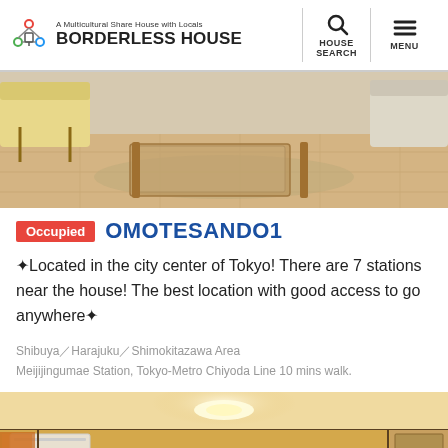A Multicultural Share House with Locals BORDERLESS HOUSE | HOUSE SEARCH | MENU
[Figure (photo): Interior photo of a share house living room with wooden floors, a glass coffee table, and sofa visible]
Occupied OMOTESANDO1
✦Located in the city center of Tokyo! There are 7 stations near the house! The best location with good access to go anywhere✦
Shibuya／Harajuku／Shimokitazawa Area
Meijijingumae Station, Tokyo-Metro Chiyoda Line 10 mins walk.
[Figure (photo): Interior photo of a room with warm lighting, ceiling fixture, air conditioner, and wall decorations]